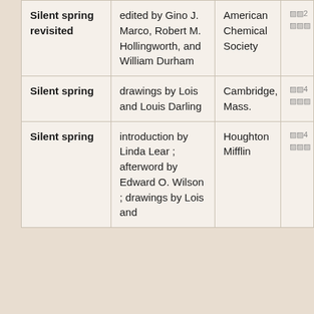| Title | Description | Publisher | Date |
| --- | --- | --- | --- |
| Silent spring revisited | edited by Gino J. Marco, Robert M. Hollingworth, and William Durham | American Chemical Society | 19██ |
| Silent spring | drawings by Lois and Louis Darling | Cambridge, Mass. | 19██ |
| Silent spring | introduction by Linda Lear ; afterword by Edward O. Wilson ; drawings by Lois and | Houghton Mifflin | 19██ |